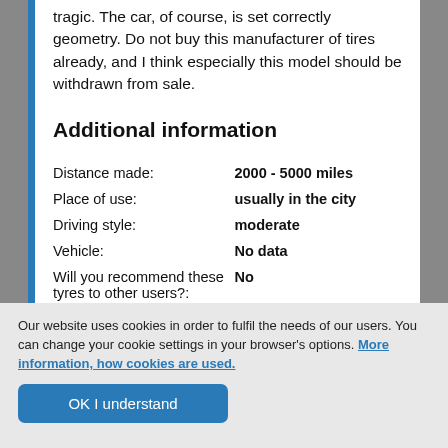tragic. The car, of course, is set correctly geometry. Do not buy this manufacturer of tires already, and I think especially this model should be withdrawn from sale.
Additional information
| Field | Value |
| --- | --- |
| Distance made: | 2000 - 5000 miles |
| Place of use: | usually in the city |
| Driving style: | moderate |
| Vehicle: | No data |
| Will you recommend these tyres to other users?: | No |
Our website uses cookies in order to fulfil the needs of our users. You can change your cookie settings in your browser's options. More information, how cookies are used.
OK I understand